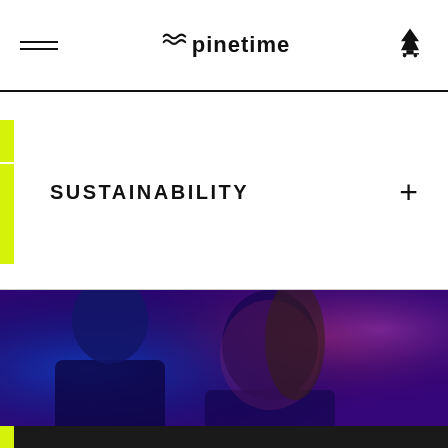Pinetime — navigation header with hamburger menu and cart icon
SUSTAINABILITY
[Figure (photo): A man and woman posing under dramatic blue and red/purple neon lighting, both wearing dark clothing. The woman leans against the man's shoulder. The image has a high-contrast fashion editorial style.]